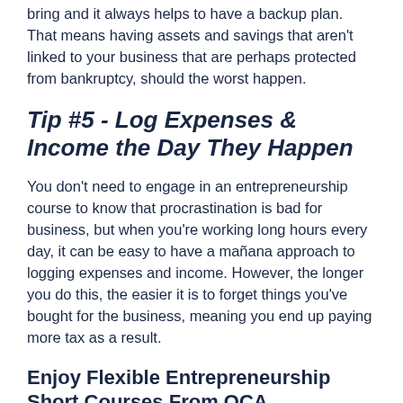bring and it always helps to have a backup plan. That means having assets and savings that aren't linked to your business that are perhaps protected from bankruptcy, should the worst happen.
Tip #5 - Log Expenses & Income the Day They Happen
You don't need to engage in an entrepreneurship course to know that procrastination is bad for business, but when you're working long hours every day, it can be easy to have a mañana approach to logging expenses and income. However, the longer you do this, the easier it is to forget things you've bought for the business, meaning you end up paying more tax as a result.
Enjoy Flexible Entrepreneurship Short Courses From OCA